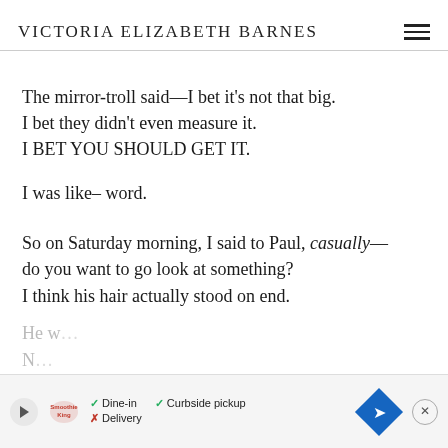VICTORIA ELIZABETH BARNES
The mirror-troll said—I bet it's not that big.
I bet they didn't even measure it.
I BET YOU SHOULD GET IT.
I was like– word.
So on Saturday morning, I said to Paul, casually—
do you want to go look at something?
I think his hair actually stood on end.
He w...
N...